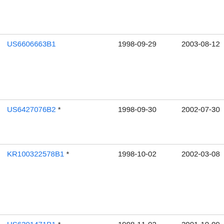| Patent | Filed | Published | Assignee |
| --- | --- | --- | --- |
| Kal (truncated) |  |  |  |
| US6606663B1 | 1998-09-29 | 2003-08-12 | Opt Inc (truncated) |
| US6427076B2 * | 1998-09-30 | 2002-07-30 | Tel Lm (truncated) |
| KR100322578B1 * | 1998-10-02 | 2002-03-08 | □□□ (Korean) |
| US6301471B1 * | 1998-11-02 | 2001-10-09 | Opt Inc (truncated) |
| JP3704533B2 * | 1998-11-10 | 2005-10-12 | □□□□ (Korean/Japanese) |